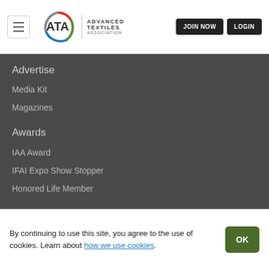[Figure (logo): ATA Advanced Textiles Association logo with colorful circular arc and text]
Advertise
Media Kit
Magazines
Awards
IAA Award
IFAI Expo Show Stopper
Honored Life Member
Email Newsletters
Contact
By continuing to use this site, you agree to the use of cookies. Learn about how we use cookies.